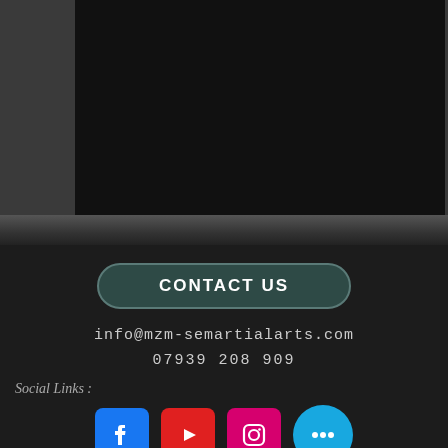[Figure (photo): Dark/black rectangular photo area on a grey textured background, upper portion of a mobile app screen]
CONTACT US
info@mzm-semartialarts.com
07939 208 909
Social Links :
[Figure (logo): Social media icons row: Facebook (blue), YouTube (red), Instagram (pink/magenta), and a cyan more-options button]